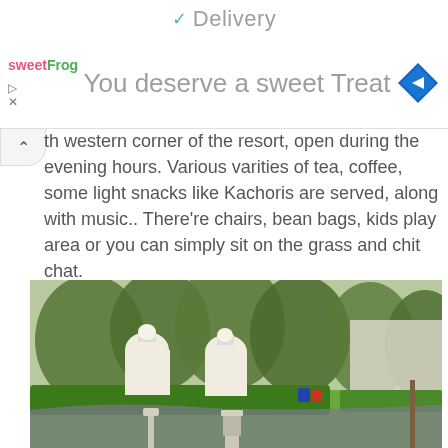Delivery
[Figure (screenshot): SweetFrog advertisement banner with text 'You deserve a sweet Treat' and a blue diamond navigation icon]
th western corner of the resort, open during the evening hours. Various varities of tea, coffee, some light snacks like Kachoris are served, along with music.. There're chairs, bean bags, kids play area or you can simply sit on the grass and chit chat.
[Figure (photo): Outdoor photo of a resort area showing white dome-shaped structures, lush green trees and hedges, grass lawns, and a walkway with decorative elements]